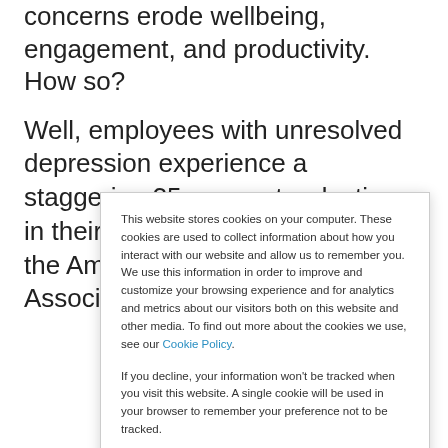Indeed, unaddressed employee mental health concerns erode wellbeing, engagement, and productivity. How so?
Well, employees with unresolved depression experience a staggering 35 per cent reduction in their productivity, according to the American Psychiatric Association. What that means in
This website stores cookies on your computer. These cookies are used to collect information about how you interact with our website and allow us to remember you. We use this information in order to improve and customize your browsing experience and for analytics and metrics about our visitors both on this website and other media. To find out more about the cookies we use, see our Cookie Policy.
If you decline, your information won't be tracked when you visit this website. A single cookie will be used in your browser to remember your preference not to be tracked.